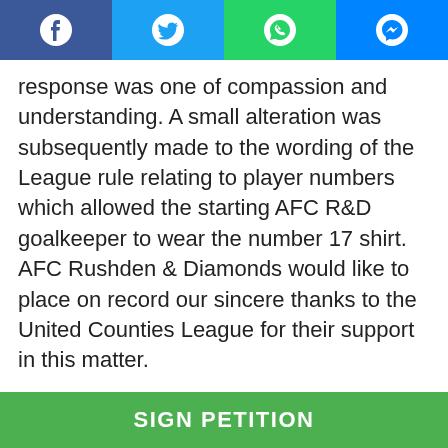[Figure (other): Social sharing bar with Facebook, Twitter, WhatsApp, and Messenger icons]
response was one of compassion and understanding. A small alteration was subsequently made to the wording of the League rule relating to player numbers which allowed the starting AFC R&D goalkeeper to wear the number 17 shirt. AFC Rushden & Diamonds would like to place on record our sincere thanks to the United Counties League for their support in this matter.
Following promotion to the Evo-Stik League Southern Division One Central, the Club made a request to the Southern League Board to provide similar special dispensation for the starting goalkeeper to wear the number 17. This request was denied.
SIGN PETITION